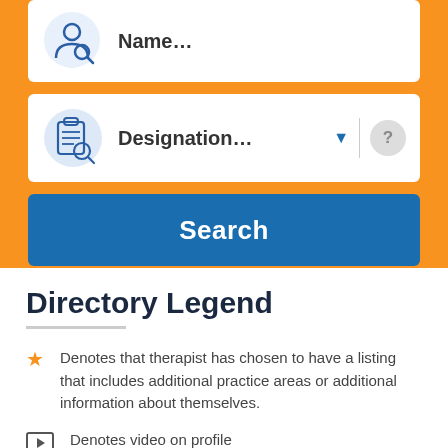[Figure (screenshot): Search form card with name field showing 'Name...' text and an icon]
[Figure (screenshot): Search form card with designation dropdown showing 'Designation...' text, dropdown arrow, divider, and help circle icon]
[Figure (screenshot): Blue Search button]
Directory Legend
Denotes that therapist has chosen to have a listing that includes additional practice areas or additional information about themselves.
Denotes video on profile